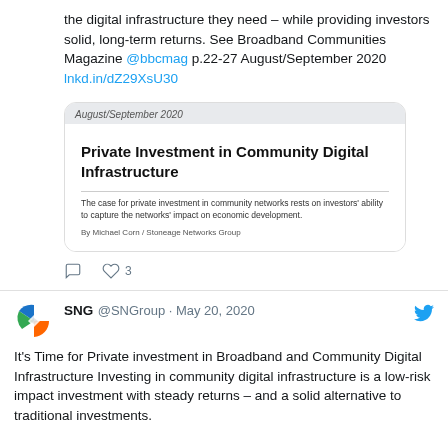the digital infrastructure they need – while providing investors solid, long-term returns. See Broadband Communities Magazine @bbcmag p.22-27 August/September 2020 lnkd.in/dZ29XsU30
[Figure (screenshot): Screenshot of article preview card: 'Private Investment in Community Digital Infrastructure' from Broadband Communities Magazine August/September 2020]
[Figure (infographic): Tweet action icons: comment bubble and heart with count 3]
SNG @SNGroup · May 20, 2020
It's Time for Private investment in Broadband and Community Digital Infrastructure Investing in community digital infrastructure is a low-risk impact investment with steady returns – and a solid alternative to traditional investments.